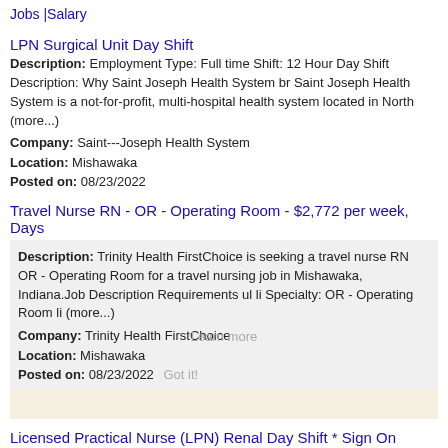Jobs |Salary
LPN Surgical Unit Day Shift
Description: Employment Type: Full time Shift: 12 Hour Day Shift Description: Why Saint Joseph Health System br Saint Joseph Health System is a not-for-profit, multi-hospital health system located in North (more...)
Company: Saint- -Joseph Health System
Location: Mishawaka
Posted on: 08/23/2022
Travel Nurse RN - OR - Operating Room - $2,772 per week, Days
Description: Trinity Health FirstChoice is seeking a travel nurse RN OR - Operating Room for a travel nursing job in Mishawaka, Indiana.Job Description Requirements ul li Specialty: OR - Operating Room li (more...)
Company: Trinity Health FirstChoice
Location: Mishawaka
Posted on: 08/23/2022
Licensed Practical Nurse (LPN) Renal Day Shift * Sign On Bonus *